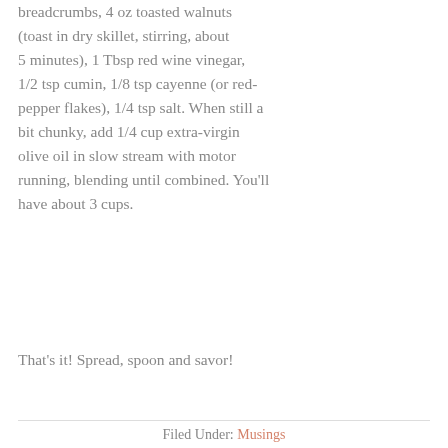breadcrumbs, 4 oz toasted walnuts (toast in dry skillet, stirring, about 5 minutes), 1 Tbsp red wine vinegar, 1/2 tsp cumin, 1/8 tsp cayenne (or red-pepper flakes), 1/4 tsp salt. When still a bit chunky, add 1/4 cup extra-virgin olive oil in slow stream with motor running, blending until combined. You'll have about 3 cups.
That's it! Spread, spoon and savor!
Filed Under: Musings